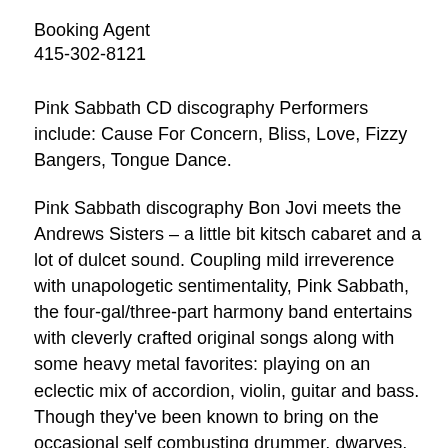Booking Agent
415-302-8121
Pink Sabbath CD discography Performers include: Cause For Concern, Bliss, Love, Fizzy Bangers, Tongue Dance.
Pink Sabbath discography Bon Jovi meets the Andrews Sisters – a little bit kitsch cabaret and a lot of dulcet sound. Coupling mild irreverence with unapologetic sentimentality, Pink Sabbath, the four-gal/three-part harmony band entertains with cleverly crafted original songs along with some heavy metal favorites: playing on an eclectic mix of accordion, violin, guitar and bass. Though they've been known to bring on the occasional self combusting drummer, dwarves, and miniature Stone Henge replica props, the core of Pink Sabbath is: Pink Drake (Sharron Drake on violin and vocals) Lady Pinkwick (Diana Lerwick on accordion, flute and vocals) and Pinky Pfeiff-a-dero (Adrienne Pfeiffer on guitar and vocals) and the ever properly pouting Magenta (Cindy Guiliani, on a cheap ass electric bass). Lady Pinkwick keeps things interesting by occasionally breaking out the flute during the group's Lynyrd Skynyrd covers. Pink Drake and Pinky Pfeiff-a-dero met several